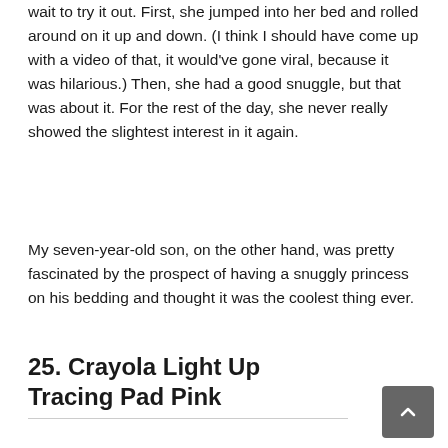wait to try it out. First, she jumped into her bed and rolled around on it up and down. (I think I should have come up with a video of that, it would've gone viral, because it was hilarious.) Then, she had a good snuggle, but that was about it. For the rest of the day, she never really showed the slightest interest in it again.
My seven-year-old son, on the other hand, was pretty fascinated by the prospect of having a snuggly princess on his bedding and thought it was the coolest thing ever.
25. Crayola Light Up Tracing Pad Pink